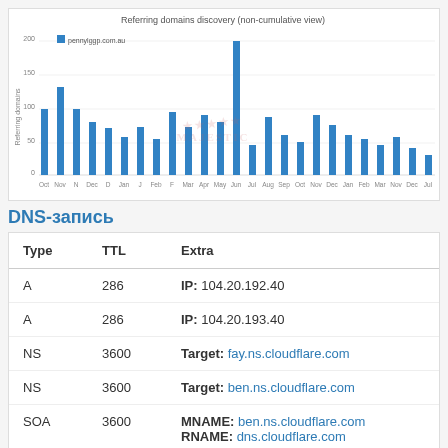[Figure (bar-chart): Bar chart showing referring domains discovery over time (non-cumulative view) for pennylggp.com.au. Bars vary in height with peaks around Nov and Jan timeframes.]
DNS-запись
| Type | TTL | Extra |
| --- | --- | --- |
| A | 286 | IP: 104.20.192.40 |
| A | 286 | IP: 104.20.193.40 |
| NS | 3600 | Target: fay.ns.cloudflare.com |
| NS | 3600 | Target: ben.ns.cloudflare.com |
| SOA | 3600 | MNAME: ben.ns.cloudflare.com
RNAME: dns.cloudflare.com |